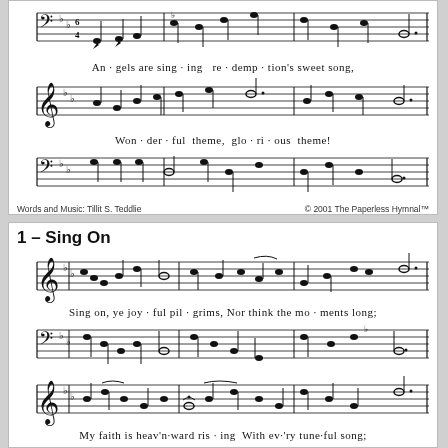[Figure (illustration): Sheet music notation for a hymn showing treble and bass clef staves with notes for 'Angels are singing redemption's sweet song']
An · gels are sing · ing  re · demp · tion's sweet song,
[Figure (illustration): Sheet music notation for treble and bass clef staves for 'Won · der · ful theme, glo · ri · ous theme!']
Won · der · ful theme,  glo · ri · ous theme!
Words and Music: Tillit S. Teddlie
© 2001 The Paperless Hymnal™
1 – Sing On
[Figure (illustration): Sheet music notation for hymn 'Sing On' treble and bass clef staves]
Sing on, ye joy · ful pil · grims, Nor think the mo · ments long;
[Figure (illustration): Sheet music notation for lower staves of 'Sing On']
My faith is heav'n·ward ris · ing With ev·'ry tune·ful song;